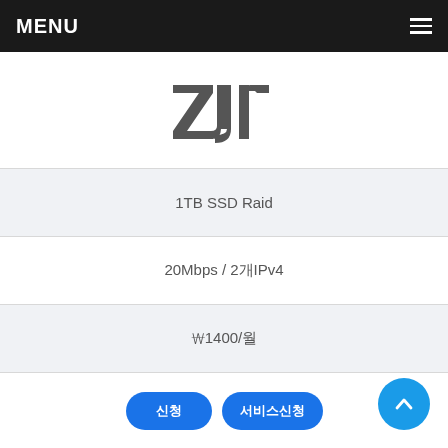MENU
[Figure (logo): ZJI logo in dark gray stylized text]
| 1TB SSD Raid |
| 20Mbps / 2개IPv4 |
| ₩1400/월 |
| 신청 | 서비스신청 |
| □□□□□□□ |
| Intel E5-2637v2 |